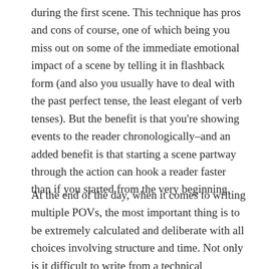during the first scene. This technique has pros and cons of course, one of which being you miss out on some of the immediate emotional impact of a scene by telling it in flashback form (and also you usually have to deal with the past perfect tense, the least elegant of verb tenses). But the benefit is that you're showing events to the reader chronologically–and an added benefit is that starting a scene partway through the action can hook a reader faster than if you started from the very beginning.
At the end of the day, when it comes to writing multiple POVs, the most important thing is to be extremely calculated and deliberate with all choices involving structure and time. Not only is it difficult to write from a technical standpoint, there's also psychologically a